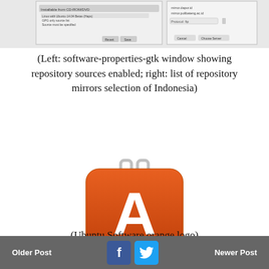[Figure (screenshot): Screenshot showing software-properties-gtk window on the left with repository sources enabled, and on the right a list of repository mirrors for Indonesia selection.]
(Left: software-properties-gtk window showing repository sources enabled; right: list of repository mirrors selection of Indonesia)
[Figure (logo): Ubuntu Software orange logo - orange rounded square with white letter A and handle on top]
(Ubuntu Software orange logo)
Browsing for applications is easy thanks to Ubuntu Software (the app center) or I prefer to call it, Software Center. The Software
Older Post   [Facebook] [Twitter]   Newer Post